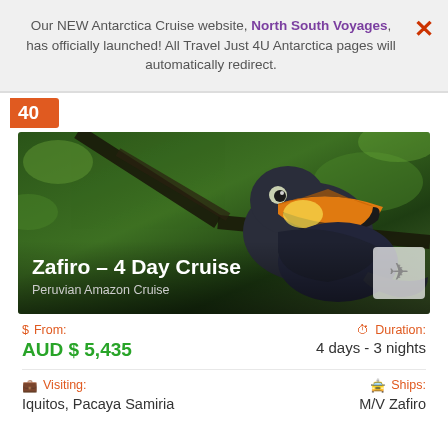Our NEW Antarctica Cruise website, North South Voyages, has officially launched! All Travel Just 4U Antarctica pages will automatically redirect.
40
[Figure (photo): A toucan bird perched on a branch in a lush green jungle setting, with an orange and black beak. Overlay text reads: Zafiro – 4 Day Cruise / Peruvian Amazon Cruise]
$ From:
AUD $ 5,435
Duration:
4 days - 3 nights
Visiting:
Iquitos, Pacaya Samiria
Ships:
M/V Zafiro